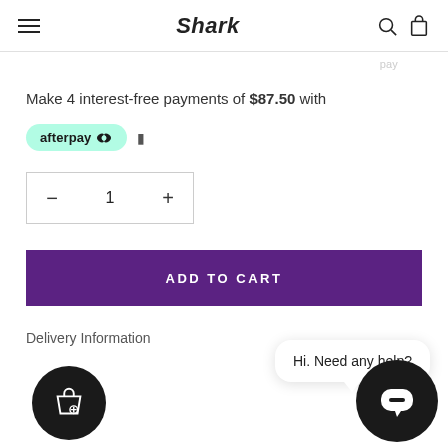Shark
Make 4 interest-free payments of $87.50 with afterpay
1 (quantity selector)
ADD TO CART
Delivery Information
Hi. Need any help?